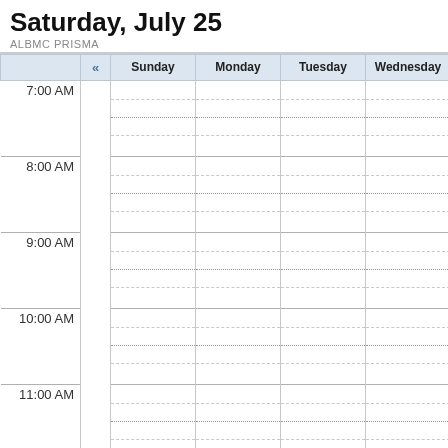Saturday, July 25
ALBMC Prisma
| « |  | Sunday | Monday | Tuesday | Wednesday |
| --- | --- | --- | --- | --- | --- |
| 7:00 AM |  |  |  |  |  |
| 8:00 AM |  |  |  |  |  |
| 9:00 AM |  |  |  |  |  |
| 10:00 AM |  |  |  |  |  |
| 11:00 AM |  |  |  |  |  |
| 12:00 PM |  |  |  |  |  |
| 1:00 PM |  |  |  |  |  |